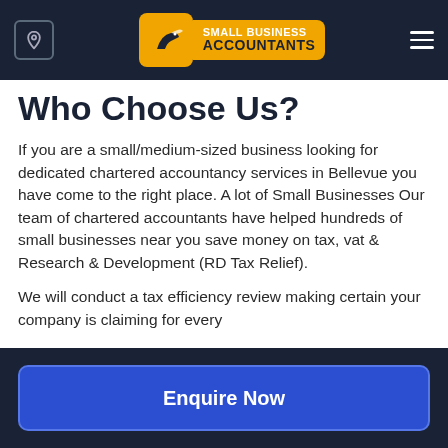Small Business Accountants — Navigation bar with location icon, logo, and hamburger menu
Who Choose Us?
If you are a small/medium-sized business looking for dedicated chartered accountancy services in Bellevue you have come to the right place. A lot of Small Businesses Our team of chartered accountants have helped hundreds of small businesses near you save money on tax, vat & Research & Development (RD Tax Relief).
We will conduct a tax efficiency review making certain your company is claiming for every
Enquire Now